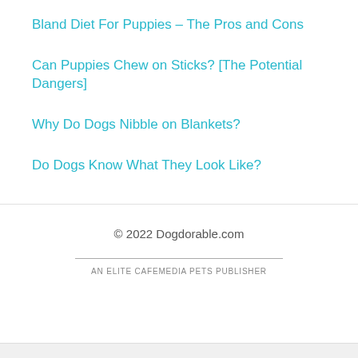Bland Diet For Puppies – The Pros and Cons
Can Puppies Chew on Sticks? [The Potential Dangers]
Why Do Dogs Nibble on Blankets?
Do Dogs Know What They Look Like?
© 2022 Dogdorable.com
AN ELITE CAFEMEDIA PETS PUBLISHER